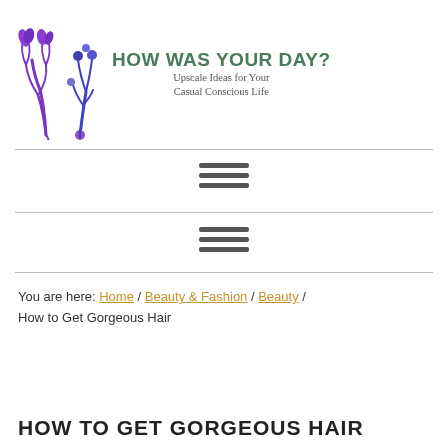[Figure (logo): How Was Your Day? blog logo with purple plant illustrations and teal/green gradient title text. Subtitle: Upscale Ideas for Your Casual Conscious Life]
[Figure (other): Hamburger menu icon (three horizontal lines)]
[Figure (other): Hamburger menu icon (three horizontal lines), second instance]
You are here: Home / Beauty & Fashion / Beauty / How to Get Gorgeous Hair
HOW TO GET GORGEOUS HAIR